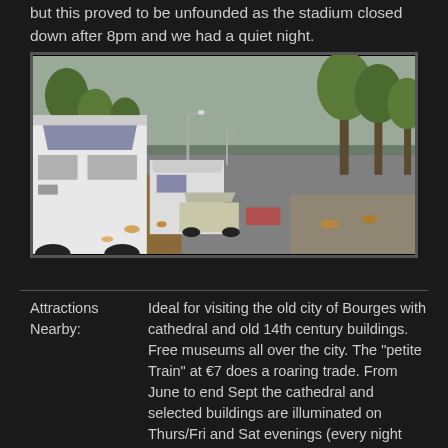but this proved to be unfounded as the stadium closed down after 8pm and we had a quiet night.
[Figure (photo): A road lined with trees in autumn, with motorhomes and cars parked on the left side of the road. The scene appears to be an aire or parking area, with leaves on the ground. Grey cloudy sky visible above.]
Attractions Nearby: Ideal for visiting the old city of Bourges with cathedral and old 14th century buildings. Free museums all over the city. The "petite Train" at €7 does a roaring trade. From June to end Sept the cathedral and selected buildings are illuminated on Thurs/Fri and Sat evenings (every night during July and August). The Tourist Info Office was particularly helpful and has its
Cost per 24hrs: